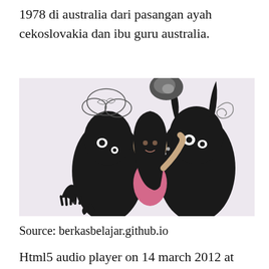1978 di australia dari pasangan ayah cekoslovakia dan ibu guru australia.
[Figure (photo): A woman with dark hair in a pink outfit surrounded by large black creature silhouettes against a light pink background, with abstract decorative elements like swirls and cloud shapes above.]
Source: berkasbelajar.github.io
Html5 audio player on 14 march 2012 at